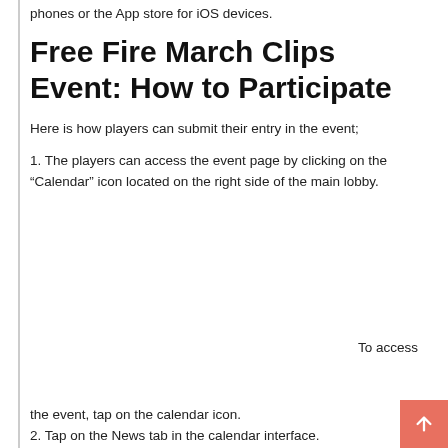phones or the App store for iOS devices.
Free Fire March Clips Event: How to Participate
Here is how players can submit their entry in the event;
1. The players can access the event page by clicking on the “Calendar” icon located on the right side of the main lobby.
To access
the event, tap on the calendar icon.
2. Tap on the News tab in the calendar interface.